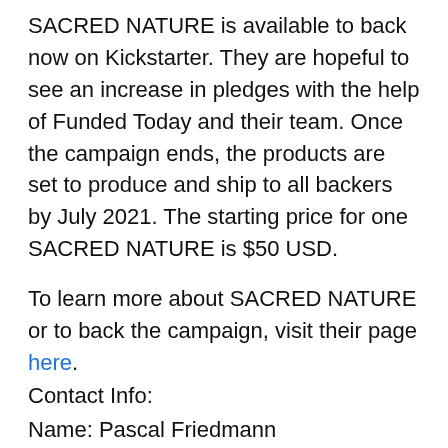SACRED NATURE is available to back now on Kickstarter. They are hopeful to see an increase in pledges with the help of Funded Today and their team. Once the campaign ends, the products are set to produce and ship to all backers by July 2021. The starting price for one SACRED NATURE is $50 USD.
To learn more about SACRED NATURE or to back the campaign, visit their page here.
Contact Info:
Name: Pascal Friedmann
Email: Send Email
Organization: Funded Today
Website: http://www.funded.today
Release ID: 89023597